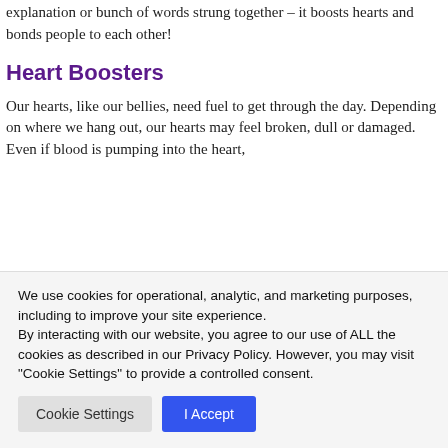you describe gratitude to him – gratitude is way more than any explanation or bunch of words strung together – it boosts hearts and bonds people to each other!
Heart Boosters
Our hearts, like our bellies, need fuel to get through the day. Depending on where we hang out, our hearts may feel broken, dull or damaged. Even if blood is pumping into the heart,
We use cookies for operational, analytic, and marketing purposes, including to improve your site experience.
By interacting with our website, you agree to our use of ALL the cookies as described in our Privacy Policy. However, you may visit "Cookie Settings" to provide a controlled consent.